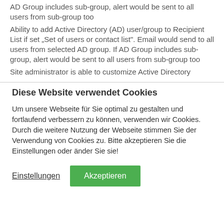AD Group includes sub-group, alert would be sent to all users from sub-group too
Ability to add Active Directory (AD) user/group to Recipient List if set „Set of users or contact list“. Email would send to all users from selected AD group. If AD Group includes sub-group, alert would be sent to all users from sub-group too
Site administrator is able to customize Active Directory
Diese Website verwendet Cookies
Um unsere Webseite für Sie optimal zu gestalten und fortlaufend verbessern zu können, verwenden wir Cookies. Durch die weitere Nutzung der Webseite stimmen Sie der Verwendung von Cookies zu. Bitte akzeptieren Sie die Einstellungen oder änder Sie sie!
Einstellungen
Akzeptieren